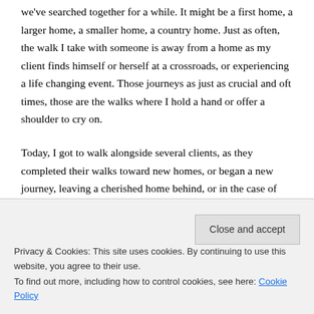we've searched together for a while. It might be a first home, a larger home, a smaller home, a country home. Just as often, the walk I take with someone is away from a home as my client finds himself or herself at a crossroads, or experiencing a life changing event. Those journeys as just as crucial and oft times, those are the walks where I hold a hand or offer a shoulder to cry on.
Today, I got to walk alongside several clients, as they completed their walks toward new homes, or began a new journey, leaving a cherished home behind, or in the case of one couple, I accompanied them as they walked away from the home where they raised their family... and then toward the next home that is
Privacy & Cookies: This site uses cookies. By continuing to use this website, you agree to their use.
To find out more, including how to control cookies, see here: Cookie Policy